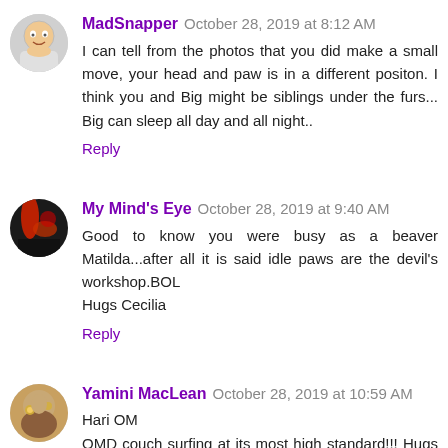MadSnapper  October 28, 2019 at 8:12 AM
I can tell from the photos that you did make a small move, your head and paw is in a different positon. I think you and Big might be siblings under the furs... Big can sleep all day and all night..
Reply
My Mind's Eye  October 28, 2019 at 9:40 AM
Good to know you were busy as a beaver Matilda...after all it is said idle paws are the devil's workshop.BOL
Hugs Cecilia
Reply
Yamini MacLean  October 28, 2019 at 10:59 AM
Hari OM
OMD couch surfing at its most high standard!!! Hugs and wags, YAM-aunty xxx
Reply